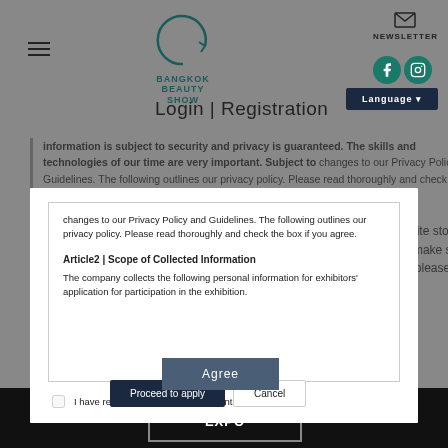[Figure (logo): Bangkok Beauty Show logo with arc graphic and teal text]
[Figure (logo): Newsletter envelope icon]
[Figure (logo): Facebook and Instagram social media icons in teal circles]
Language
Login | Registration
information is subject to security and privacy is guaranteed. The skills and technologies of our time are very important. Subject to changes to our Privacy Policy and Guidelines. The following outlines our privacy policy. Please read thoroughly and check the box if you agree.
We collect and use cookies. A cookie is a small piece of data that a website stores on the visitor's computer or mobile device. We use functional cookies to make sure our website works well and secure. For more information about cookies, please read our Privacy Policy.
Article2 | Scope of Collected Information
The company collects the following personal information for exhibitors' application for participation in the exhibition.
I have read and agreed to the contents above.
Proceed to apply
Cancel
[Figure (logo): K.Beauty Expo logo in white on black background in bordered box]